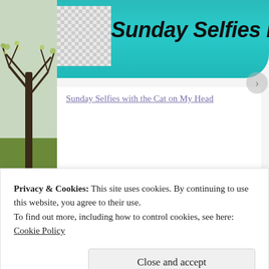[Figure (photo): Left sidebar showing a tree with bare branches against a light sky, with some yellow-green leaves visible, displayed as a vertical strip]
[Figure (screenshot): Blog header banner with teal/turquoise background, checkerboard pattern on left, and bold italic title 'Sunday Selfies Blog']
Sunday Selfies with the Cat on My Head
7 Comments
Privacy & Cookies: This site uses cookies. By continuing to use this website, you agree to their use.
To find out more, including how to control cookies, see here: Cookie Policy
Close and accept